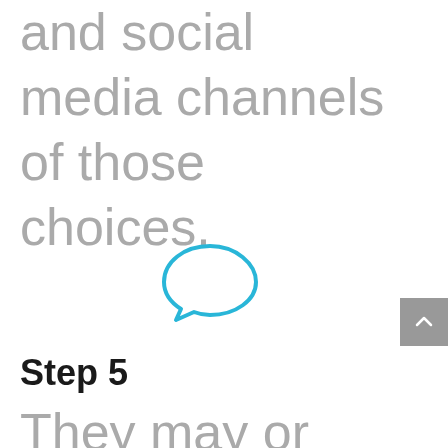and social media channels of those choices.
[Figure (illustration): Speech bubble / chat icon in blue outline style]
Step 5
They may or may not